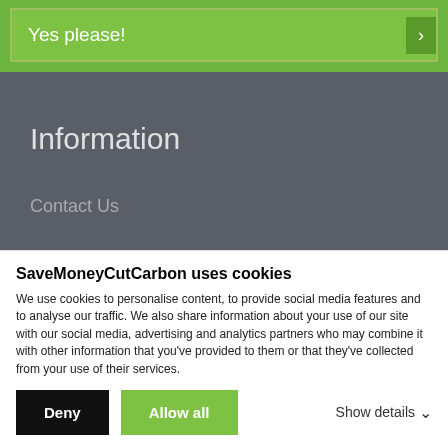Yes please!
Information
Contact Us
About Us
SaveMoneyCutCarbon uses cookies
We use cookies to personalise content, to provide social media features and to analyse our traffic. We also share information about your use of our site with our social media, advertising and analytics partners who may combine it with other information that you've provided to them or that they've collected from your use of their services.
Deny
Allow all
Show details